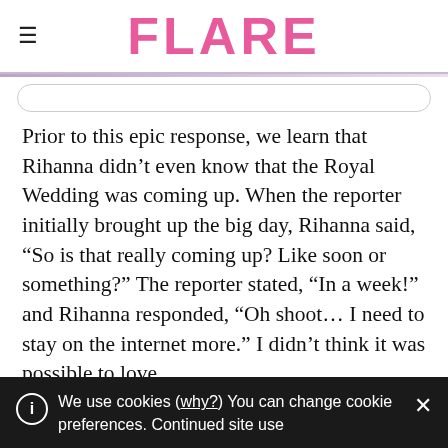FLARE
Prior to this epic response, we learn that Rihanna didn't even know that the Royal Wedding was coming up. When the reporter initially brought up the big day, Rihanna said, “So is that really coming up? Like soon or something?” The reporter stated, “In a week!” and Rihanna responded, “Oh shoot… I need to stay on the internet more.” I didn’t think it was possible to love
We use cookies (why?) You can change cookie preferences. Continued site use